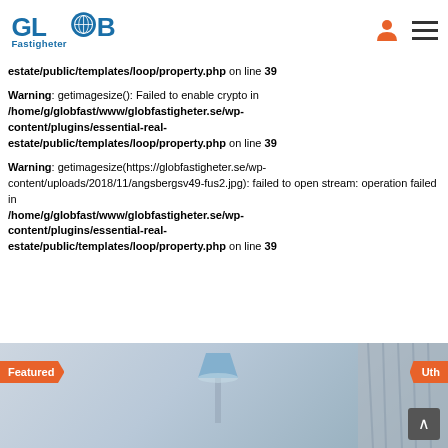GLOB Fastigheter
estate/public/templates/loop/property.php on line 39
Warning: getimagesize(): Failed to enable crypto in /home/g/globfast/www/globfastigheter.se/wp-content/plugins/essential-real-estate/public/templates/loop/property.php on line 39
Warning: getimagesize(https://globfastigheter.se/wp-content/uploads/2018/11/angsbergsv49-fus2.jpg): failed to open stream: operation failed in /home/g/globfast/www/globfastigheter.se/wp-content/plugins/essential-real-estate/public/templates/loop/property.php on line 39
[Figure (photo): Property listing image strip with Featured badge on left and Uth badge on right, showing interior with lamp, with scroll-to-top button.]